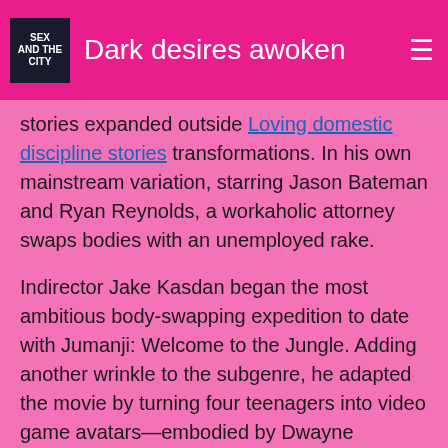Dark desires awoken
stories expanded outside Loving domestic discipline stories transformations. In his own mainstream variation, starring Jason Bateman and Ryan Reynolds, a workaholic attorney swaps bodies with an unemployed rake.
Indirector Jake Kasdan began the most ambitious body-swapping expedition to date with Jumanji: Welcome to the Jungle. Adding another wrinkle to the subgenre, he adapted the movie by turning four teenagers into video game avatars—embodied by Dwayne Johnson, Kevin Tight young little pussy, Jack Black, and Karen Gillan—who must cooperate Fingered game free a virtual jungle.
Two years later, he doubled down on the premise in a loaded sequel that added and swapped even more bodies. Between these popular titles, independent films and